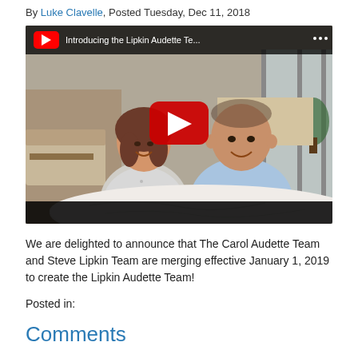By Luke Clavelle, Posted Tuesday, Dec 11, 2018
[Figure (screenshot): YouTube video thumbnail showing two people (a woman and a man) seated at a table in an office setting, with a YouTube play button overlay. The video title reads 'Introducing the Lipkin Audette Te...']
We are delighted to announce that The Carol Audette Team and Steve Lipkin Team are merging effective January 1, 2019 to create the Lipkin Audette Team!
Posted in:
Comments